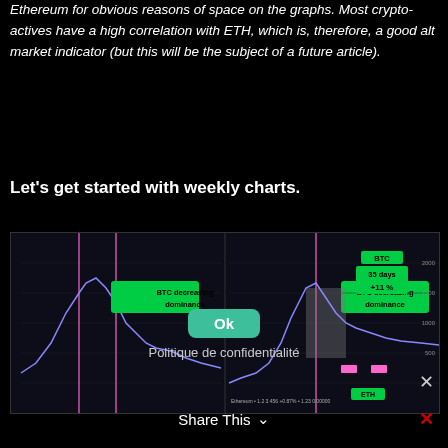Ethereum for obvious reasons of space on the graphs. Most crypto-actives have a high correlation with ETH, which is, therefore, a good alt market indicator (but this will be the subject of a future article).
Let's get started with weekly charts.
[Figure (continuous-plot): Two-panel weekly chart showing BTC dominance and ETH price. Left panel shows BTC with 'BTC decreasing dominance' label in green box. Right panel shows BTC with annotations: 'BTC', '35 days', '+11 %' in green boxes, with pink vertical lines and highlighted regions.]
Politique de confidentialité